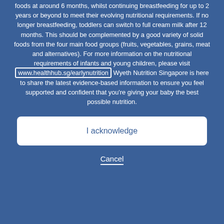foods at around 6 months, whilst continuing breastfeeding for up to 2 years or beyond to meet their evolving nutritional requirements. If no longer breastfeeding, toddlers can switch to full cream milk after 12 months. This should be complemented by a good variety of solid foods from the four main food groups (fruits, vegetables, grains, meat and alternatives). For more information on the nutritional requirements of infants and young children, please visit www.healthhub.sg/earlynutrition Wyeth Nutrition Singapore is here to share the latest evidence-based information to ensure you feel supported and confident that you're giving your baby the best possible nutrition.
I acknowledge
Cancel